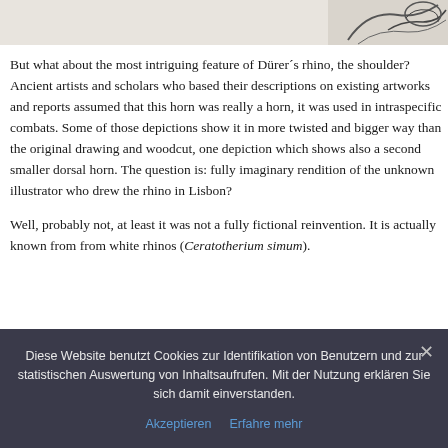[Figure (illustration): Partial illustration of Dürer's rhinoceros, showing the upper portion of the animal in black and white engraving style, cropped at top of page.]
But what about the most intriguing feature of Dürer´s rhino, the shoulder? Ancient artists and scholars who based their descriptions on existing artworks and reports assumed that this horn was really a horn, it was used in intraspecific combats. Some of those depictions show it in more twisted and bigger way than the original drawing and woodcut, one depiction which shows also a second smaller dorsal horn. The question is: fully imaginary rendition of the unknown illustrator who drew the rhino in Lisbon?
Well, probably not, at least it was not a fully fictional reinvention. It is actually known from from white rhinos (Ceratotherium simum).
Diese Website benutzt Cookies zur Identifikation von Benutzern und zur statistischen Auswertung von Inhaltsaufrufen. Mit der Nutzung erklären Sie sich damit einverstanden.
Akzeptieren   Erfahre mehr